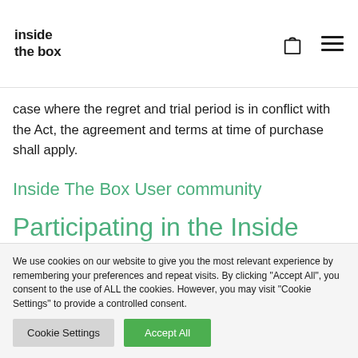inside the box
case where the regret and trial period is in conflict with the Act, the agreement and terms at time of purchase shall apply.
Inside The Box User community
Participating in the Inside The Box Community
We use cookies on our website to give you the most relevant experience by remembering your preferences and repeat visits. By clicking "Accept All", you consent to the use of ALL the cookies. However, you may visit "Cookie Settings" to provide a controlled consent.